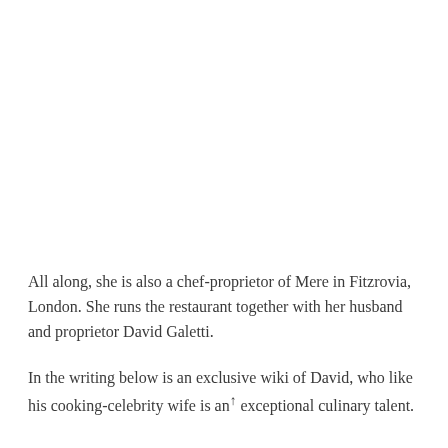All along, she is also a chef-proprietor of Mere in Fitzrovia, London. She runs the restaurant together with her husband and proprietor David Galetti.
In the writing below is an exclusive wiki of David, who like his cooking-celebrity wife is an exceptional culinary talent.